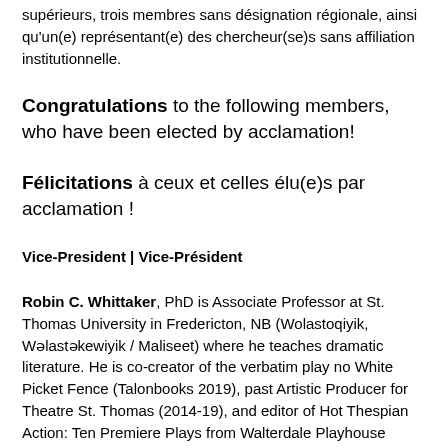supérieurs, trois membres sans désignation régionale, ainsi qu'un(e) représentant(e) des chercheur(se)s sans affiliation institutionnelle.
Congratulations to the following members, who have been elected by acclamation!
Félicitations à ceux et celles élu(e)s par acclamation !
Vice-President | Vice-Président
Robin C. Whittaker, PhD is Associate Professor at St. Thomas University in Fredericton, NB (Wolastoqiyik, Wəlastəkewiyik / Maliseet) where he teaches dramatic literature. He is co-creator of the verbatim play no White Picket Fence (Talonbooks 2019), past Artistic Producer for Theatre St. Thomas (2014-19), and editor of Hot Thespian Action: Ten Premiere Plays from Walterdale Playhouse (Athabasca UP 2008). His articles appear in publications that include Theatre Research in Canada and